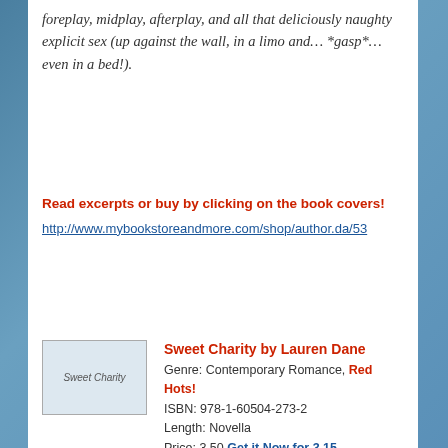foreplay, midplay, afterplay, and all that deliciously naughty explicit sex (up against the wall, in a limo and… *gasp*…even in a bed!).
Read excerpts or buy by clicking on the book covers!
http://www.mybookstoreandmore.com/shop/author.da/53
[Figure (illustration): Book cover thumbnail for Sweet Charity by Lauren Dane]
Sweet Charity by Lauren Dane
Genre: Contemporary Romance, Red Hots!
ISBN: 978-1-60504-273-2
Length: Novella
Price: 3.50 Get it Now for 3.15
Cover art by Natalie Winters

A bad boy is about to find out just how naughty a good girl can be.